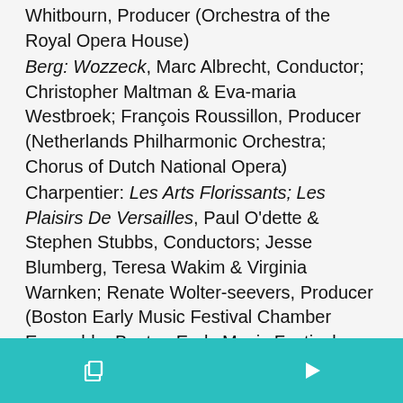Whitbourn, Producer (Orchestra of the Royal Opera House)
Berg: Wozzeck, Marc Albrecht, Conductor; Christopher Maltman & Eva-maria Westbroek; François Roussillon, Producer (Netherlands Philharmonic Orchestra; Chorus of Dutch National Opera)
Charpentier: Les Arts Florissants; Les Plaisirs De Versailles, Paul O'dette & Stephen Stubbs, Conductors; Jesse Blumberg, Teresa Wakim & Virginia Warnken; Renate Wolter-seevers, Producer (Boston Early Music Festival Chamber Ensemble; Boston Early Music Festival Vocal Ensemble)
Picker: Fantastic Mr. Fox, Gil Rose, Conductor; John Brancy, Andrew Craig Brown, Gabriel Preisser, Krista River & Edwin Vega; Gil Rose, Producer (Boston Modern Orchestra Project; Boston Children's Chorus)